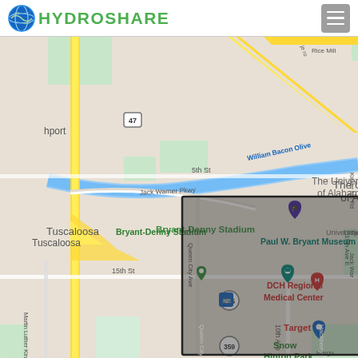HydroShare
[Figure (map): Google Maps view of Tuscaloosa, Alabama area showing The University of Alabama, Bryant-Denny Stadium, Paul W. Bryant Museum, DCH Regional Medical Center, and surrounding streets. A darker shaded rectangle overlays the central campus area. Visible labels include Jack Warner Pkwy, Queen City Ave, Hackberry Ln, 5th St, 15th St, 10th Ave, William Bacon Oliver road, route markers 47, 215, 359, and landmarks Target and Snow Hinton Park.]